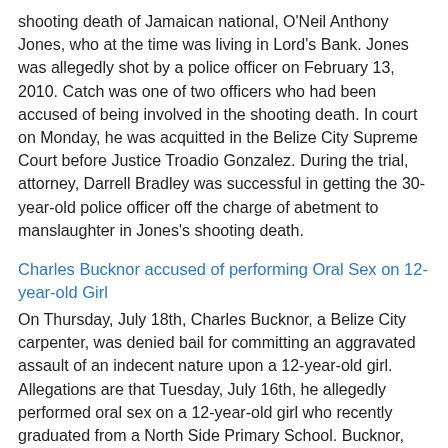shooting death of Jamaican national, O'Neil Anthony Jones, who at the time was living in Lord's Bank. Jones was allegedly shot by a police officer on February 13, 2010. Catch was one of two officers who had been accused of being involved in the shooting death. In court on Monday, he was acquitted in the Belize City Supreme Court before Justice Troadio Gonzalez. During the trial, attorney, Darrell Bradley was successful in getting the 30-year-old police officer off the charge of abetment to manslaughter in Jones's shooting death.
Charles Bucknor accused of performing Oral Sex on 12-year-old Girl
On Thursday, July 18th, Charles Bucknor, a Belize City carpenter, was denied bail for committing an aggravated assault of an indecent nature upon a 12-year-old girl. Allegations are that Tuesday, July 16th, he allegedly performed oral sex on a 12-year-old girl who recently graduated from a North Side Primary School. Bucknor, who was unrepresented, appeared before Senior Magistrate, Sharon Frazer in where he was read a single charge of aggravated assault of an indecent nature upon a minor. He pleaded not guilty but the court prosecutor objected to bail on the grounds that there is a possibility that Bucknor could be additionally charged with other offenses in connection with the same incident. On his